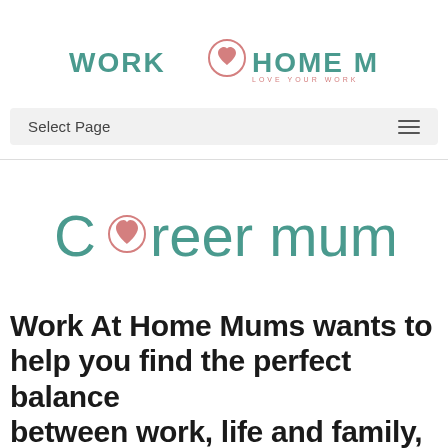[Figure (logo): Work Home Mums logo with heart icon and tagline 'LOVE YOUR WORK']
Select Page
[Figure (logo): Career mums logo with heart replacing the 'o' in Career, teal and salmon colors]
Work At Home Mums wants to help you find the perfect balance between work, life and family, and...